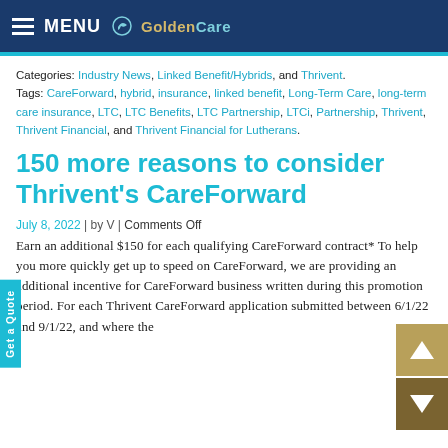MENU GoldenCare
Categories: Industry News, Linked Benefit/Hybrids, and Thrivent. Tags: CareForward, hybrid, insurance, linked benefit, Long-Term Care, long-term care insurance, LTC, LTC Benefits, LTC Partnership, LTCi, Partnership, Thrivent, Thrivent Financial, and Thrivent Financial for Lutherans.
150 more reasons to consider Thrivent's CareForward
July 8, 2022 | by V | Comments Off
Earn an additional $150 for each qualifying CareForward contract* To help you more quickly get up to speed on CareForward, we are providing an additional incentive for CareForward business written during this promotion period. For each Thrivent CareForward application submitted between 6/1/22 and 9/1/22, and where the